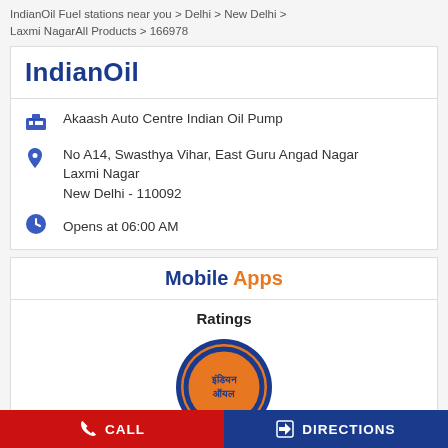IndianOil Fuel stations near you > Delhi > New Delhi > Laxmi NagarAll Products > 166978
IndianOil
Akaash Auto Centre Indian Oil Pump
No A14, Swasthya Vihar, East Guru Angad Nagar Laxmi Nagar
New Delhi - 110092
Opens at 06:00 AM
Mobile Apps
Ratings
[Figure (logo): IndianOil circular logo in orange and dark blue with Hindi text 'इंडियनऑयल']
CALL   DIRECTIONS